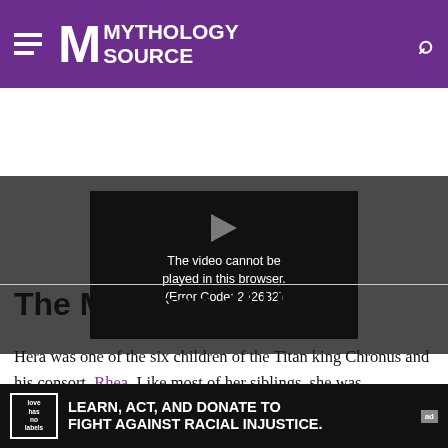Mythology Source
[Figure (screenshot): Video player showing error message: The video cannot be played in this browser. (Error Code: 242632)]
The Marriage of Hera
Hera was one of the six children of the Titan king Chronus and his consort, Rhea. Like most of her siblings, she was swallowed by her father at birth to avoid the chance of any of his children growing strong
[Figure (other): Advertisement banner: LEARN, ACT, AND DONATE TO FIGHT AGAINST RACIAL INJUSTICE.]